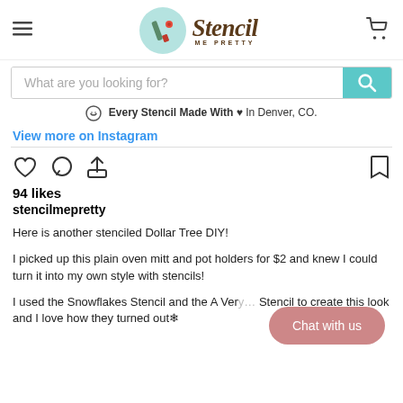Stencil Me Pretty
What are you looking for?
Every Stencil Made With ♥ In Denver, CO.
View more on Instagram
94 likes
stencilmepretty
Here is another stenciled Dollar Tree DIY!
I picked up this plain oven mitt and pot holders for $2 and knew I could turn it into my own style with stencils!
I used the Snowflakes Stencil and the A Very… Stencil to create this look and I love how they turned out❄